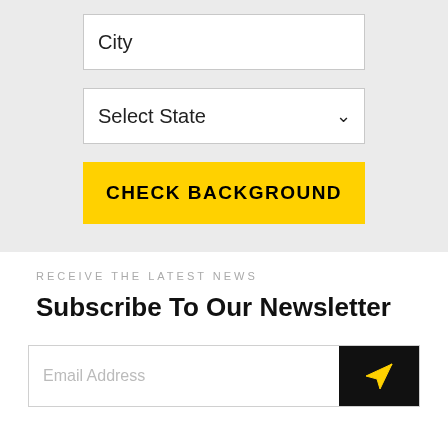City
Select State
CHECK BACKGROUND
RECEIVE THE LATEST NEWS
Subscribe To Our Newsletter
Email Address